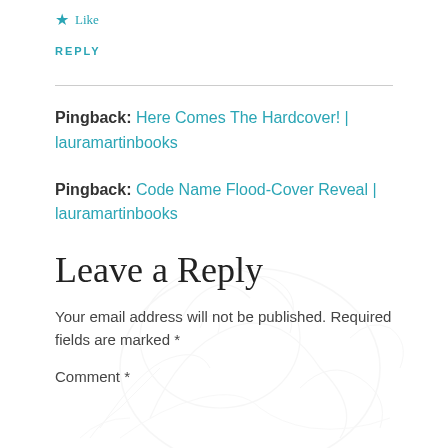★ Like
REPLY
Pingback: Here Comes The Hardcover! | lauramartinbooks
Pingback: Code Name Flood-Cover Reveal | lauramartinbooks
Leave a Reply
Your email address will not be published. Required fields are marked *
Comment *